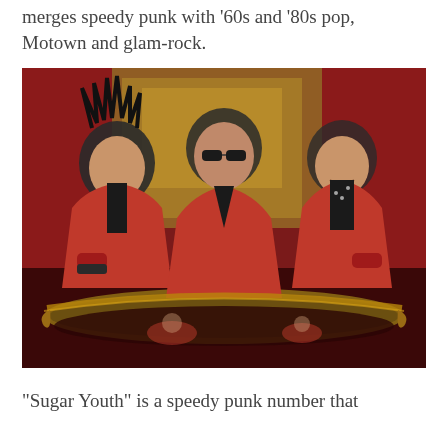merges speedy punk with '60s and '80s pop, Motown and glam-rock.
[Figure (photo): Three men in red suits posing for a promotional band photo. The man on the left has spiky black hair, the man in the center wears dark sunglasses, and the man on the right is smiling. They are leaning over an ornate gold-framed mirror on a textured gold/red background. Their reflections are visible in the mirror below.]
“Sugar Youth” is a speedy punk number that